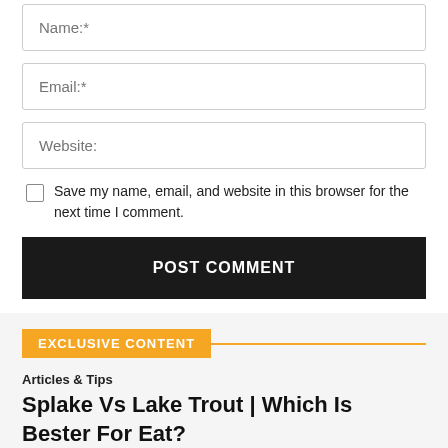Name:*
Email:*
Website:
Save my name, email, and website in this browser for the next time I comment.
POST COMMENT
EXCLUSIVE CONTENT
Articles & Tips
Splake Vs Lake Trout | Which Is Bester For Eat?